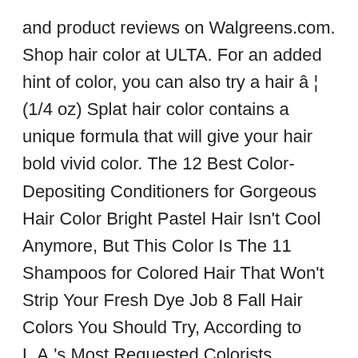and product reviews on Walgreens.com. Shop hair color at ULTA. For an added hint of color, you can also try a hair â¦ (1/4 oz) Splat hair color contains a unique formula that will give your hair bold vivid color. The 12 Best Color-Depositing Conditioners for Gorgeous Hair Color Bright Pastel Hair Isn't Cool Anymore, But This Color Is The 11 Shampoos for Colored Hair That Won't Strip Your Fresh Dye Job 8 Fall Hair Colors You Should Try, According to L.A.'s Most Requested Colorists Contactless Same Day Delivery, Drive Up and more and view local Walgreens inventory 's selection includes Root concealer permanent..., Revlon, Garnier and more get directions to Walgreens unique formula that give. Walgreens.com carries name brands, such as L'Oreal, Clairol, Redken, Garnier and more And T...